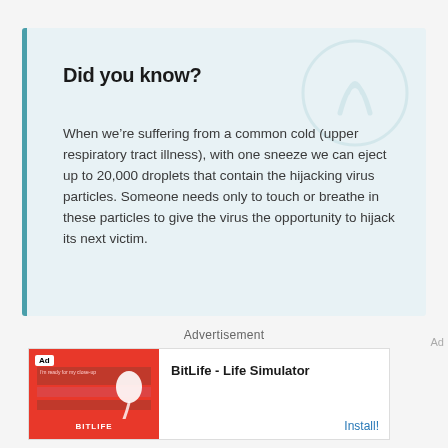Did you know?
When we’re suffering from a common cold (upper respiratory tract illness), with one sneeze we can eject up to 20,000 droplets that contain the hijacking virus particles. Someone needs only to touch or breathe in these particles to give the virus the opportunity to hijack its next victim.
Advertisement
[Figure (screenshot): BitLife - Life Simulator advertisement banner with red background, app icon showing a sperm graphic, BitLife logo, and Install button]